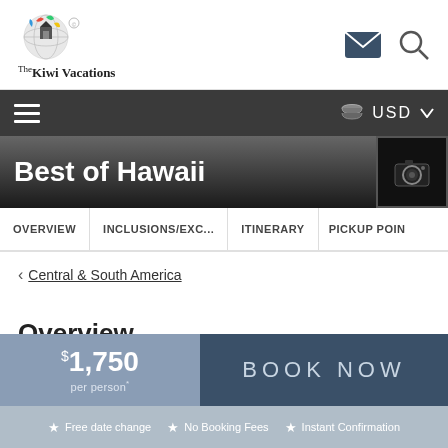[Figure (logo): The Kiwi Vacations logo with globe and colorful flags]
The Kiwi Vacations
Best of Hawaii
OVERVIEW   INCLUSIONS/EXC...   ITINERARY   PICKUP POIN
< Central & South America
Overview
$1,750 per person*
BOOK NOW
★ Free date change  ★ No Booking Fees  ★ Instant Confirmation